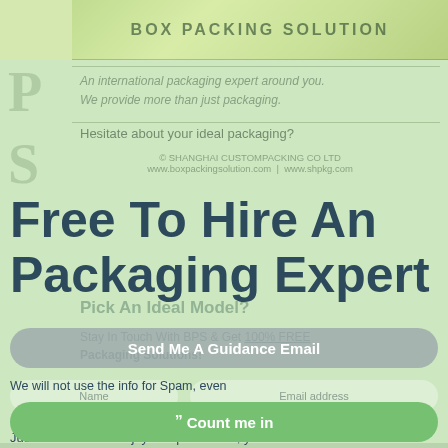[Figure (screenshot): Box Packing Solution website header with floral/nature background, logo letters P and S, tagline 'An international packaging expert around you. We provide more than just packaging.']
Hesitate about your ideal packaging?
© SHANGHAI CUSTOMPACKING CO LTD
www.boxpackingsolution.com | www.shpkg.com
Free To Hire An Packaging Expert
Pick An Ideal Model?
Stay In Touch With BPS & Get 100% FREE Packaging Solutions!
Just fill the form & enjoy a cup of coffee, you will be connected with an expert. RESULT GUARANTEE!
Send Me A Guidance Email
We will not use the info for Spam, even
Count me in